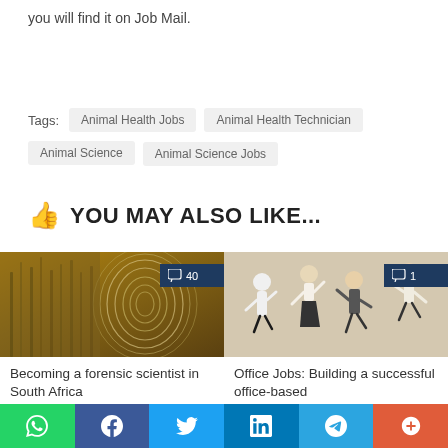you will find it on Job Mail.
Animal Health Jobs
Animal Health Technician
Animal Science
Animal Science Jobs
YOU MAY ALSO LIKE...
[Figure (photo): Fingerprint pattern overlay on field/nature background with comment badge showing 40]
Becoming a forensic scientist in South Africa
[Figure (photo): Group of jumping office workers in white shirts with comment badge showing 1]
Office Jobs: Building a successful office-based
Social share buttons: WhatsApp, Facebook, Twitter, LinkedIn, Telegram, More